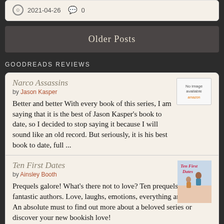2021-04-26  0
Older Posts
GOODREADS REVIEWS
Narco Assassins by Jason Kasper
Better and better With every book of this series, I am saying that it is the best of Jason Kasper's book to date, so I decided to stop saying it because I will sound like an old record. But seriously, it is his best book to date, full ...
Ten First Dates by Ainsley Booth
Prequels galore! What's there not to love? Ten prequels. Ten fantastic authors. Love, laughs, emotions, everything and more! An absolute must to find out more about a beloved series or discover your new bookish love!